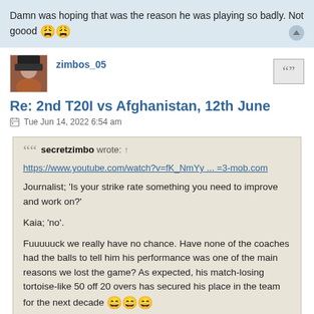Damn was hoping that was the reason he was playing so badly. Not goood 😩😩
zimbos_05
Re: 2nd T20I vs Afghanistan, 12th June
Tue Jun 14, 2022 6:54 am
secretzimbo wrote: ↑
https://www.youtube.com/watch?v=fK_NmYy ... =3-mob.com

Journalist; 'Is your strike rate something you need to improve and work on?'

Kaia; 'no'.

Fuuuuuck we really have no chance. Have none of the coaches had the balls to tell him his performance was one of the main reasons we lost the game? As expected, his match-losing tortoise-like 50 off 20 overs has secured his place in the team for the next decade 😄😄😄
Why does he look like he is speaking before a rap concert?